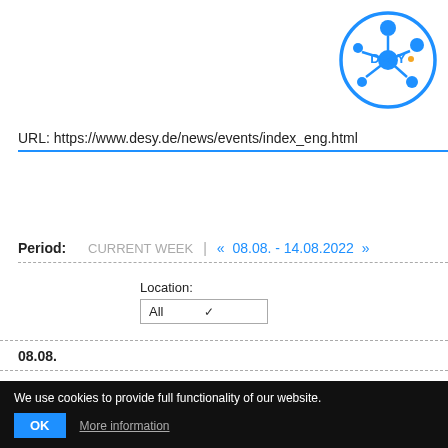[Figure (logo): DESY circular logo with blue network/molecule graphic and DESY. text in center]
URL: https://www.desy.de/news/events/index_eng.html
Period: CURRENT WEEK | « 08.08. - 14.08.2022 »
Location: All
08.08.
9:30 Zeuthen SR5 | Villa SUMMER STUDENTS @ DESY ZEU...
We use cookies to provide full functionality of our website. OK More information